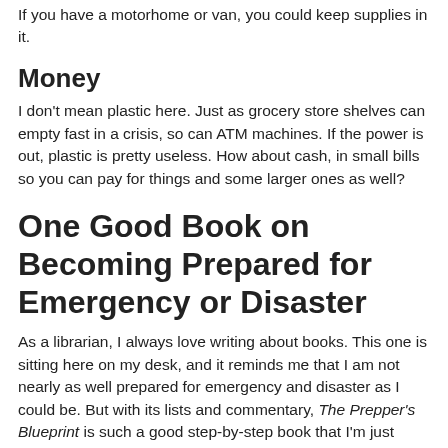If you have a motorhome or van, you could keep supplies in it.
Money
I don't mean plastic here. Just as grocery store shelves can empty fast in a crisis, so can ATM machines. If the power is out, plastic is pretty useless. How about cash, in small bills so you can pay for things and some larger ones as well?
One Good Book on Becoming Prepared for Emergency or Disaster
As a librarian, I always love writing about books. This one is sitting here on my desk, and it reminds me that I am not nearly as well prepared for emergency and disaster as I could be. But with its lists and commentary, The Prepper's Blueprint is such a good step-by-step book that I'm just